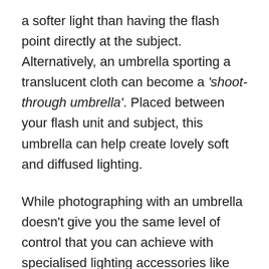a softer light than having the flash point directly at the subject. Alternatively, an umbrella sporting a translucent cloth can become a 'shoot-through umbrella'. Placed between your flash unit and subject, this umbrella can help create lovely soft and diffused lighting.
While photographing with an umbrella doesn't give you the same level of control that you can achieve with specialised lighting accessories like softboxes, honeycombs, and the like, their portability does make them very useful, especially when used as a makeshift on-location lighting...